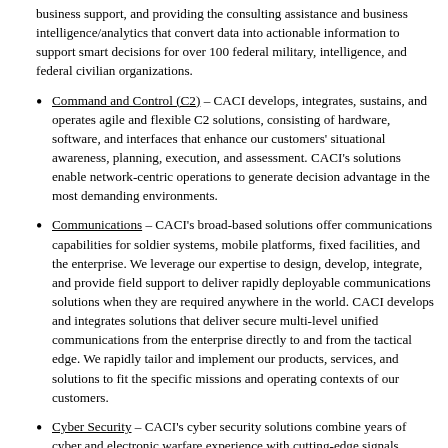business support, and providing the consulting assistance and business intelligence/analytics that convert data into actionable information to support smart decisions for over 100 federal military, intelligence, and federal civilian organizations.
Command and Control (C2) – CACI develops, integrates, sustains, and operates agile and flexible C2 solutions, consisting of hardware, software, and interfaces that enhance our customers' situational awareness, planning, execution, and assessment. CACI's solutions enable network-centric operations to generate decision advantage in the most demanding environments.
Communications – CACI's broad-based solutions offer communications capabilities for soldier systems, mobile platforms, fixed facilities, and the enterprise. We leverage our expertise to design, develop, integrate, and provide field support to deliver rapidly deployable communications solutions when they are required anywhere in the world. CACI develops and integrates solutions that deliver secure multi-level unified communications from the enterprise directly to and from the tactical edge. We rapidly tailor and implement our products, services, and solutions to fit the specific missions and operating contexts of our customers.
Cyber Security – CACI's cyber security solutions combine years of cyber and electronic warfare experience with cutting-edge signals intelligence and radio frequency (RF) expertise. We help protect vulnerable platforms – including airplanes, cell phones, weapons systems, and unmanned aerial vehicles – from cyber attacks, and we provide comprehensive cyber support to a number of federal customers and the Intelligence Community (IC). We also have a world-class cyber team that provides tailored support to the IC and Department of Defense (DoD). CACI's full-spectrum cyber security